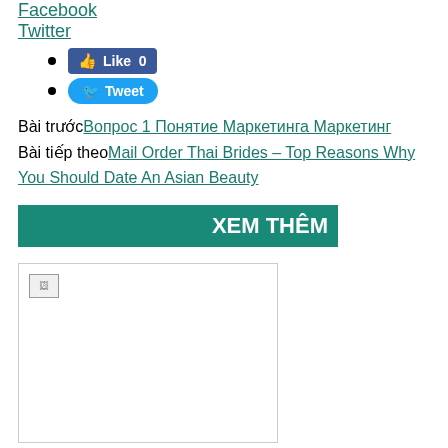Facebook
Twitter
Like 0
Tweet
Bài trước Вопрос 1 Понятие Маркетинга Маркетинг
Bài tiếp theo Mail Order Thai Brides – Top Reasons Why You Should Date An Asian Beauty
XEM THÊM
[Figure (photo): Broken image placeholder]
Chưa được phân loại
He believes cheerfully, and you will confesses he